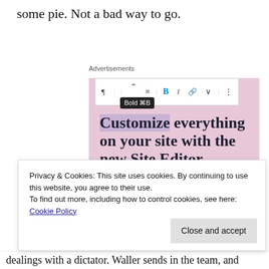some pie. Not a bad way to go.
[Figure (screenshot): Advertisement screenshot showing a WordPress Site Editor ad with toolbar, bold tooltip, pink background, headline 'Customize everything on your site with the new Site Editor.' and a 'Start Today' button]
Privacy & Cookies: This site uses cookies. By continuing to use this website, you agree to their use.
To find out more, including how to control cookies, see here: Cookie Policy
dealings with a dictator. Waller sends in the team, and